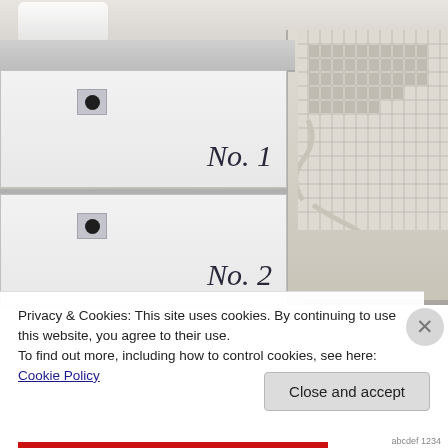[Figure (photo): Close-up photograph of a light grey painted chest of drawers with circular black knob handles in square grey mounts. Drawer 1 is labeled 'No.1' and drawer 2 is labeled 'No.2' in serif font. To the right is a decorative cream/ivory metal garden chair with a lattice grid pattern backrest. In the background upper left are white ceramic decorative objects on a shelf with ornate white trim.]
Privacy & Cookies: This site uses cookies. By continuing to use this website, you agree to their use.
To find out more, including how to control cookies, see here: Cookie Policy
Close and accept